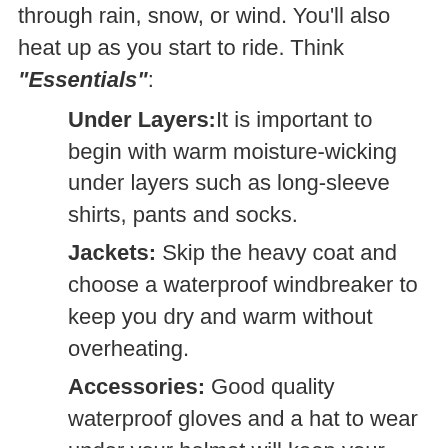through rain, snow, or wind. You'll also heat up as you start to ride. Think "Essentials":
Under Layers: It is important to begin with warm moisture-wicking under layers such as long-sleeve shirts, pants and socks.
Jackets: Skip the heavy coat and choose a waterproof windbreaker to keep you dry and warm without overheating.
Accessories: Good quality waterproof gloves and a hat to wear under your helmet will keep your extremities warm. Shoes with trek are also important to prevent slipping and injury!